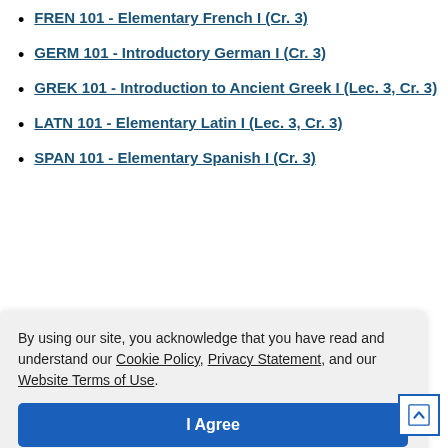FREN 101 - Elementary French I (Cr. 3)
GERM 101 - Introductory German I (Cr. 3)
GREK 101 - Introduction to Ancient Greek I (Lec. 3, Cr. 3)
LATN 101 - Elementary Latin I (Lec. 3, Cr. 3)
SPAN 101 - Elementary Spanish I (Cr. 3)
By using our site, you acknowledge that you have read and understand our Cookie Policy, Privacy Statement, and our Website Terms of Use.
BIOL 105 - Living World I (Lec. 3, Cr. 3)
CHEM 105 - Applications of Chemistry to Modern Lifestyles (Lec. 3, Cr. 3)
ENSC 101 - General Environmental Science I (Lec. 3,